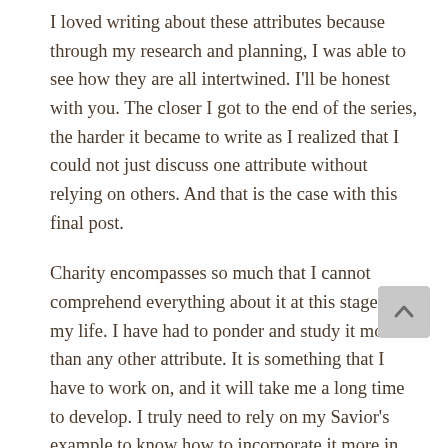I loved writing about these attributes because through my research and planning, I was able to see how they are all intertwined. I'll be honest with you. The closer I got to the end of the series, the harder it became to write as I realized that I could not just discuss one attribute without relying on others. And that is the case with this final post.
Charity encompasses so much that I cannot comprehend everything about it at this stage in my life. I have had to ponder and study it more than any other attribute. It is something that I have to work on, and it will take me a long time to develop. I truly need to rely on my Savior's example to know how to incorporate it more in my lif...